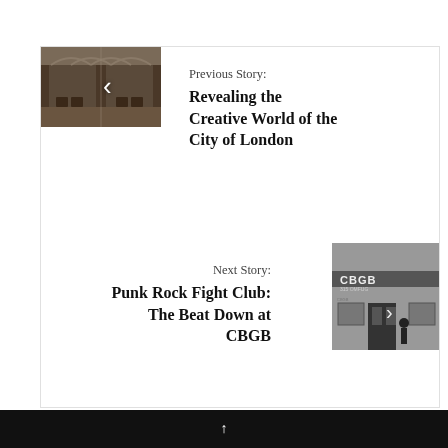[Figure (photo): Interior hall with arched ceiling and chairs, used as thumbnail for previous story navigation]
Previous Story:
Revealing the Creative World of the City of London
[Figure (photo): Black and white photo of CBGB venue exterior with a person standing outside, used as thumbnail for next story navigation]
Next Story:
Punk Rock Fight Club: The Beat Down at CBGB
↑